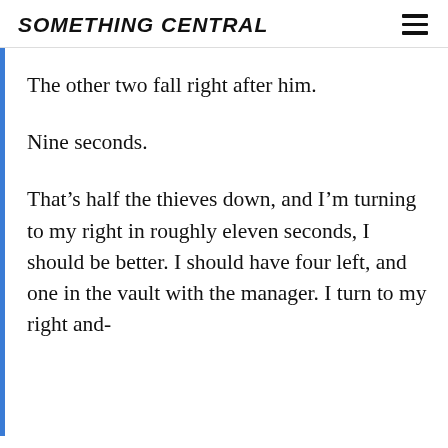SOMETHING CENTRAL
The other two fall right after him.
Nine seconds.
That’s half the thieves down, and I’m turning to my right in roughly eleven seconds, I should be better. I should have four left, and one in the vault with the manager. I turn to my right and-